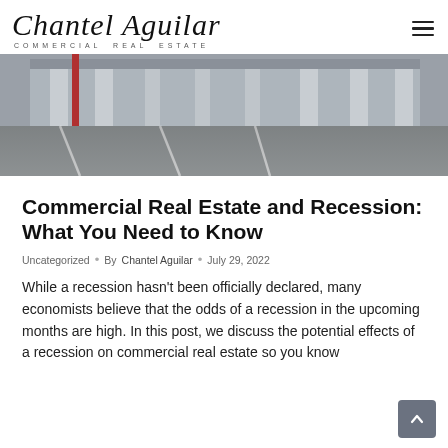Chantel Aguilar COMMERCIAL REAL ESTATE
[Figure (photo): Street-level view of a modern commercial building with a wide empty road in the foreground and architectural columns/facade in the background.]
Commercial Real Estate and Recession: What You Need to Know
Uncategorized • By Chantel Aguilar • July 29, 2022
While a recession hasn't been officially declared, many economists believe that the odds of a recession in the upcoming months are high. In this post, we discuss the potential effects of a recession on commercial real estate so you know